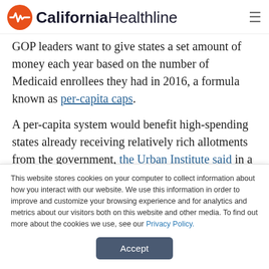California Healthline
GOP leaders want to give states a set amount of money each year based on the number of Medicaid enrollees they had in 2016, a formula known as per-capita caps.
A per-capita system would benefit high-spending states already receiving relatively rich allotments from the government, the Urban Institute said in a
This website stores cookies on your computer to collect information about how you interact with our website. We use this information in order to improve and customize your browsing experience and for analytics and metrics about our visitors both on this website and other media. To find out more about the cookies we use, see our Privacy Policy.
Accept